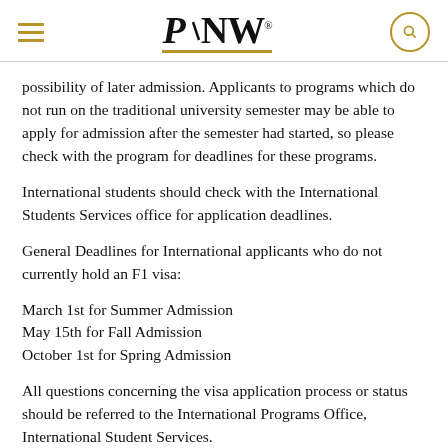PNW (Purdue University Northwest logo with hamburger menu and search icon)
possibility of later admission. Applicants to programs which do not run on the traditional university semester may be able to apply for admission after the semester had started, so please check with the program for deadlines for these programs.
International students should check with the International Students Services office for application deadlines.
General Deadlines for International applicants who do not currently hold an F1 visa:
March 1st for Summer Admission
May 15th for Fall Admission
October 1st for Spring Admission
All questions concerning the visa application process or status should be referred to the International Programs Office, International Student Services.